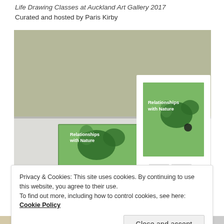Life Drawing Classes at Auckland Art Gallery 2017
Curated and hosted by Paris Kirby
[Figure (photo): Photograph of a table displaying small booklets titled 'Relationships with Nature' — one propped upright in a white card stand, another stack lying flat, both showing a green abstract cover design]
Privacy & Cookies: This site uses cookies. By continuing to use this website, you agree to their use.
To find out more, including how to control cookies, see here: Cookie Policy
Close and accept